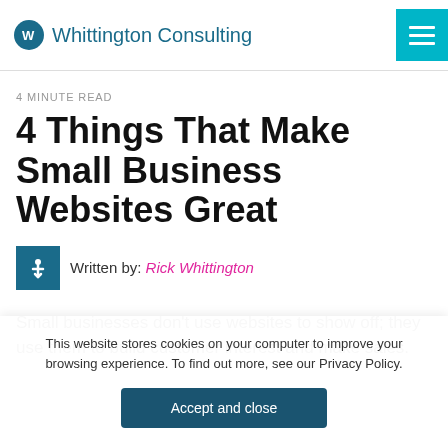Whittington Consulting
4 MINUTE READ
4 Things That Make Small Business Websites Great
Written by: Rick Whittington
Small businesses don't use websites to show off; they use them to build customer interest and make sales.
This website stores cookies on your computer to improve your browsing experience. To find out more, see our Privacy Policy.
Accept and close